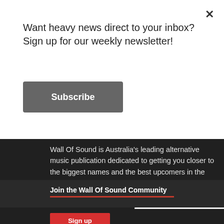×
Want heavy news direct to your inbox?Sign up for our weekly newsletter!
Subscribe
Wall Of Sound is Australia's leading alternative music publication dedicated to getting you closer to the biggest names and the best upcomers in the industry.
Sign Up For Our Newsletter:
Sign up
Join the Wall Of Sound Community